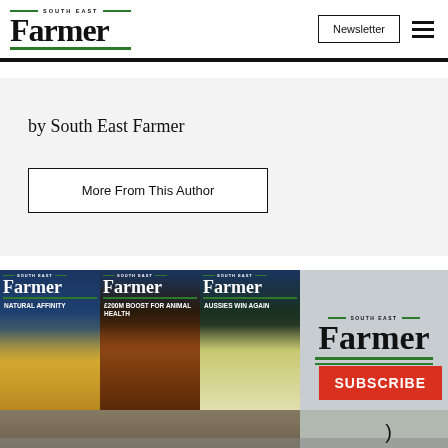South East Farmer — Newsletter
by South East Farmer
More From This Author
[Figure (illustration): South East Farmer magazine subscription banner showing three magazine covers (Natural Affinity, £200M Boost For Animal Health, Aussies Win Again) alongside the South East Farmer logo and a red Subscribe button]